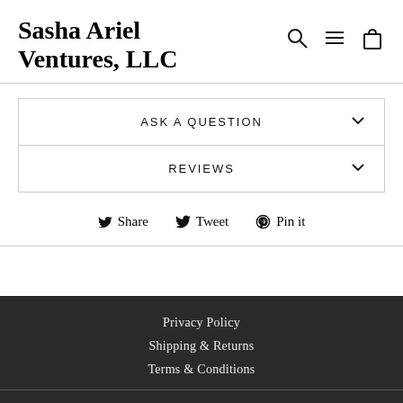Sasha Ariel Ventures, LLC
ASK A QUESTION
REVIEWS
Share  Tweet  Pin it
Privacy Policy
Shipping & Returns
Terms & Conditions